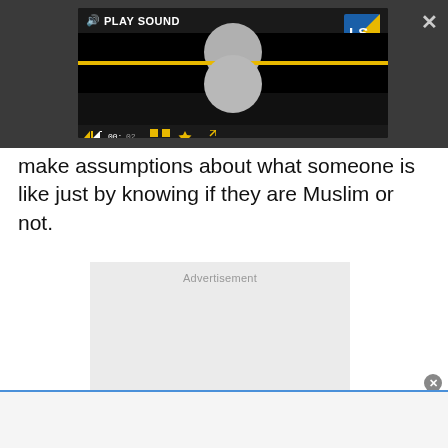[Figure (screenshot): Video player with PLAY SOUND label, LS logo, playback controls, yellow progress bar, gray balls (hourglass shape), on dark background]
make assumptions about what someone is like just by knowing if they are Muslim or not.
[Figure (other): Advertisement placeholder box with light gray background]
[Figure (other): Bottom banner strip with blue top border]